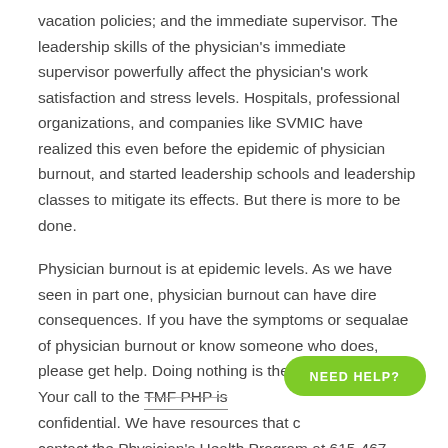vacation policies; and the immediate supervisor. The leadership skills of the physician's immediate supervisor powerfully affect the physician's work satisfaction and stress levels. Hospitals, professional organizations, and companies like SVMIC have realized this even before the epidemic of physician burnout, and started leadership schools and leadership classes to mitigate its effects. But there is more to be done.
Physician burnout is at epidemic levels. As we have seen in part one, physician burnout can have dire consequences. If you have the symptoms or sequalae of physician burnout or know someone who does, please get help. Doing nothing is the worst thing to do. Your call to the TMF PHP is confidential. We have resources that can help. Please contact the Physician's Health Program at 615-467-6411 or